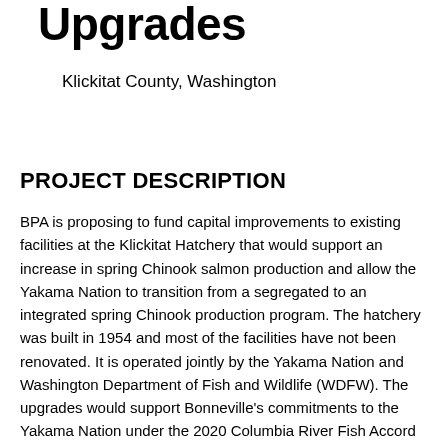Upgrades
Klickitat County, Washington
PROJECT DESCRIPTION
BPA is proposing to fund capital improvements to existing facilities at the Klickitat Hatchery that would support an increase in spring Chinook salmon production and allow the Yakama Nation to transition from a segregated to an integrated spring Chinook production program. The hatchery was built in 1954 and most of the facilities have not been renovated. It is operated jointly by the Yakama Nation and Washington Department of Fish and Wildlife (WDFW). The upgrades would support Bonneville's commitments to the Yakama Nation under the 2020 Columbia River Fish Accord Extension agreement, while also supporting ongoing efforts to mitigate for effects of the FCRPS on fish and